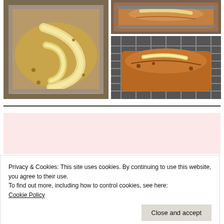[Figure (photo): Raw banana bread batter in a loaf pan with banana slices arranged on top, viewed from above]
[Figure (photo): Baked banana bread in a loaf pan, top view, golden brown]
[Figure (photo): Baked banana bread loaf on a cooling rack, side angle view showing banana slice on top]
You may also like:
[Figure (photo): Thumbnail image 1 in 'You may also like' section]
[Figure (photo): Thumbnail image 2 in 'You may also like' section]
Privacy & Cookies: This site uses cookies. By continuing to use this website, you agree to their use.
To find out more, including how to control cookies, see here:
Cookie Policy
Close and accept